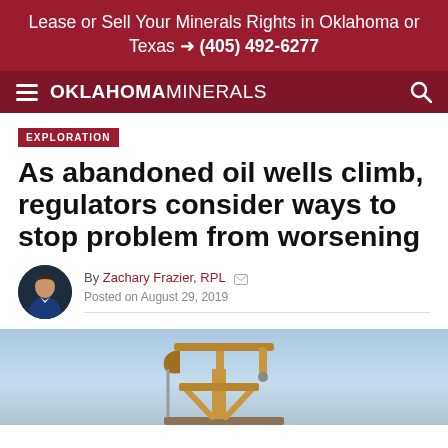Lease or Sell Your Minerals Rights in Oklahoma or Texas ➜ (405) 492-6277
OKLAHOMAMINERALS
EXPLORATION
As abandoned oil wells climb, regulators consider ways to stop problem from worsening
By Zachary Frazier, RPL
Posted on August 29, 2019
[Figure (photo): Oil pump jack silhouette against a blue sky background]